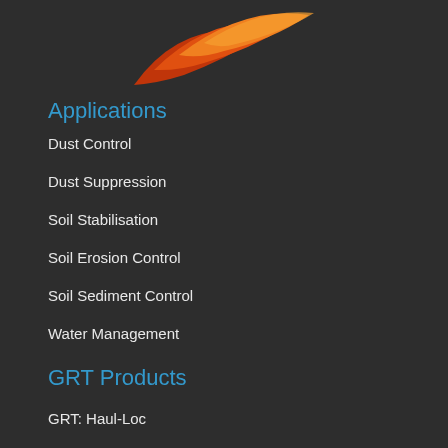[Figure (logo): GRT company logo — stylized flame/wing shape in orange-red gradient]
Applications
Dust Control
Dust Suppression
Soil Stabilisation
Soil Erosion Control
Soil Sediment Control
Water Management
GRT Products
GRT: Haul-Loc